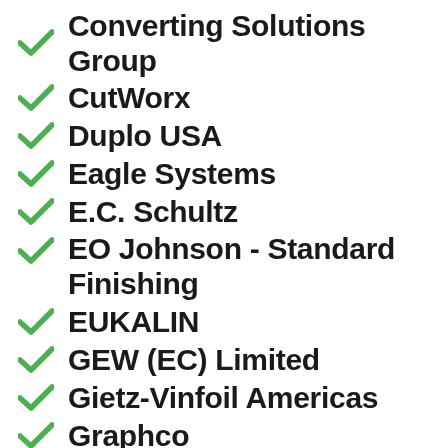Converting Solutions Group
CutWorx
Duplo USA
Eagle Systems
E.C. Schultz
EO Johnson - Standard Finishing
EUKALIN
GEW (EC) Limited
Gietz-Vinfoil Americas
Graphco